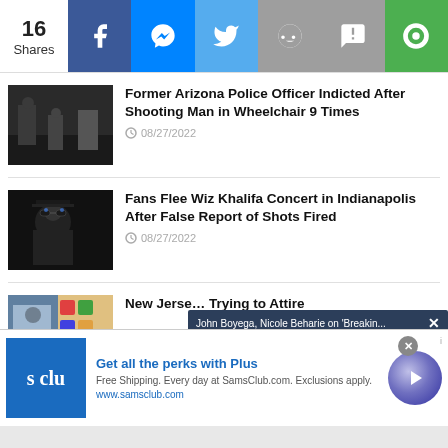16 Shares — Social share bar with Facebook, Messenger, Twitter, Reddit, SMS, Camera icons
Former Arizona Police Officer Indicted After Shooting Man in Wheelchair 9 Times
08/27/2022
Fans Flee Wiz Khalifa Concert in Indianapolis After False Report of Shots Fired
08/27/2022
New Jersey... Trying to... Attire
John Boyega, Nicole Beharie on 'Breakin...
infolinks
Get all the perks with Plus
Free Shipping. Every day at SamsClub.com. Exclusions apply.
www.samsclub.com